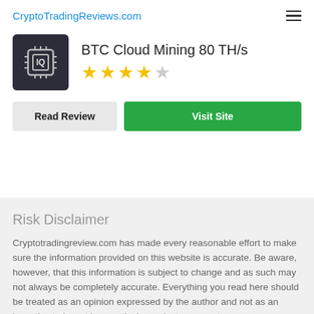CryptoTradingReviews.com
BTC Cloud Mining 80 TH/s
4 out of 5 stars
Read Review | Visit Site
Risk Disclaimer
Cryptotradingreview.com has made every reasonable effort to make sure the information provided on this website is accurate. Be aware, however, that this information is subject to change and as such may not always be completely accurate. Everything you read here should be treated as an opinion expressed by the author and not as an incentive to invest in a particular project or execute